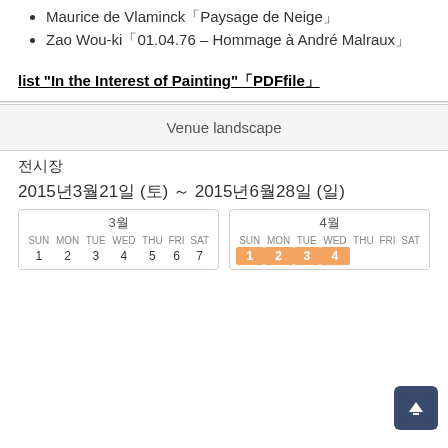Maurice de Vlaminck「Paysage de Neige」
Zao Wou-ki「01.04.76 – Hommage à André Malraux」
list "In the Interest of Painting"「PDFfile」
Venue landscape
전시장
2015년3월21일 (토) – 2015녆월28일 (일)
[Figure (other): Two calendar widgets showing months 3 and 4 with dates 1-7 visible for month 3, and dates 1-4 highlighted in orange for month 4]